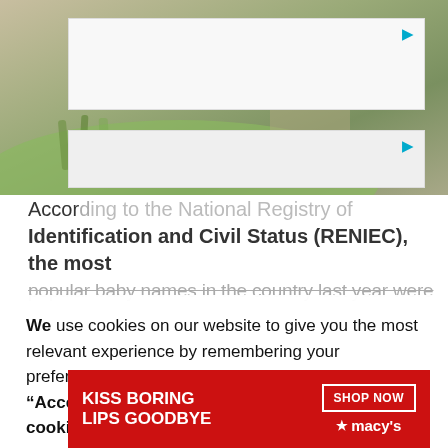[Figure (photo): Outdoor landscape photo showing ancient stone ruins with grass and vegetation, likely Machu Picchu or similar archaeological site. Overlaid with two white advertisement banners.]
According to the National Registry of Identification and Civil Status (RENIEC), the most popular baby names in the country last year were...
We use cookies on our website to give you the most relevant experience by remembering your preferences and repeat visits. By clicking “Accept”, you consent to the use of ALL the cookies.
Do not sell my personal information.
[Figure (advertisement): Macy's advertisement with red background, text 'KISS BORING LIPS GOODBYE', SHOP NOW button, and Macy's star logo]